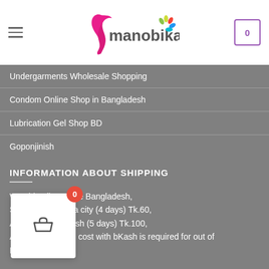manobika — header with logo, hamburger menu, and cart
Undergarments Wholesale Shopping
Condom Online Shop in Bangladesh
Lubrication Gel Shop BD
Goponjinish
INFORMATION ABOUT SHIPPING
We ship all over the Bangladesh,
Shipping to Dhaka city (4 days) Tk.60,
All over Bangladesh (5 days) Tk.100,
Advance shipping cost with bKash is required for out of Dha…